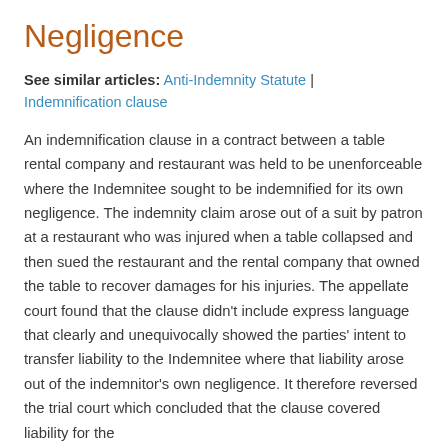Negligence
See similar articles: Anti-Indemnity Statute | Indemnification clause
An indemnification clause in a contract between a table rental company and restaurant was held to be unenforceable where the Indemnitee sought to be indemnified for its own negligence. The indemnity claim arose out of a suit by patron at a restaurant who was injured when a table collapsed and then sued the restaurant and the rental company that owned the table to recover damages for his injuries. The appellate court found that the clause didn't include express language that clearly and unequivocally showed the parties' intent to transfer liability to the Indemnitee where that liability arose out of the indemnitor's own negligence. It therefore reversed the trial court which concluded that the clause covered liability for the